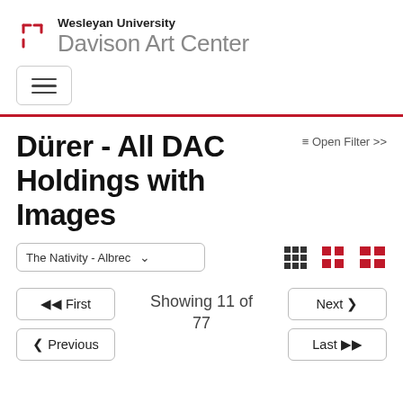Wesleyan University Davison Art Center
[Figure (logo): Wesleyan University logo bracket mark in red]
Dürer - All DAC Holdings with Images
≡ Open Filter >>
The Nativity - Albrec ▾
Showing 11 of 77
⏮ First
❮ Previous
Next ❯
Last ⏭